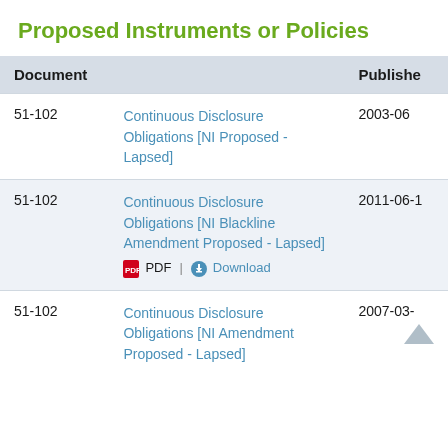Proposed Instruments or Policies
| Document | Published |
| --- | --- |
| 51-102 | Continuous Disclosure Obligations [NI Proposed - Lapsed] | 2003-06 |
| 51-102 | Continuous Disclosure Obligations [NI Blackline Amendment Proposed - Lapsed]  PDF | Download | 2011-06-1 |
| 51-102 | Continuous Disclosure Obligations [NI Amendment Proposed - Lapsed] | 2007-03- |